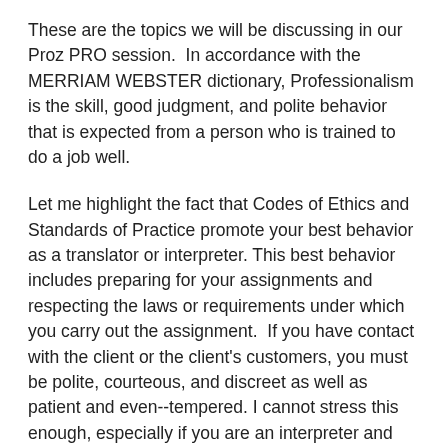These are the topics we will be discussing in our Proz PRO session.  In accordance with the MERRIAM WEBSTER dictionary, Professionalism is the skill, good judgment, and polite behavior that is expected from a person who is trained to do a job well.
Let me highlight the fact that Codes of Ethics and Standards of Practice promote your best behavior as a translator or interpreter. This best behavior includes preparing for your assignments and respecting the laws or requirements under which you carry out the assignment.  If you have contact with the client or the client's customers, you must be polite, courteous, and discreet as well as patient and even--tempered. I cannot stress this enough, especially if you are an interpreter and you will find very rude customers or LEPs or they may be in situations where they are rude to you. Just keep your calm and make sure they understand you are the interpreter and deserve